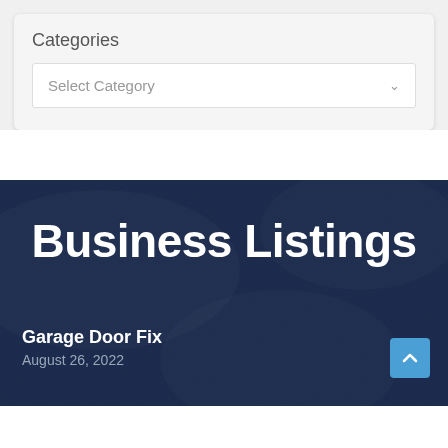Categories
Select Category
Business Listings
Garage Door Fix
August 26, 2022